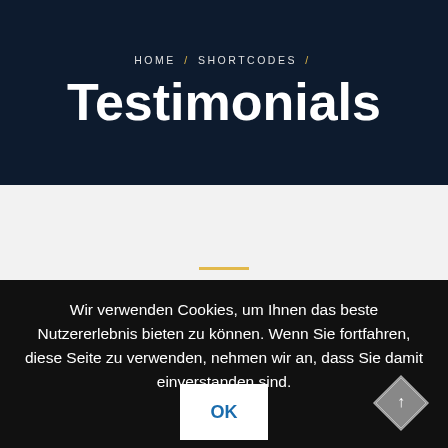HOME / SHORTCODES /
Testimonials
[Figure (other): Gold horizontal divider bar in white section]
Wir verwenden Cookies, um Ihnen das beste Nutzererlebnis bieten zu können. Wenn Sie fortfahren, diese Seite zu verwenden, nehmen wir an, dass Sie damit einverstanden sind.
OK